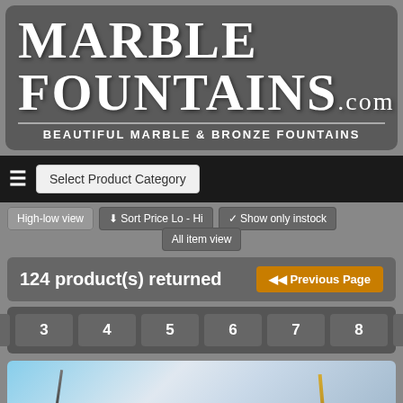[Figure (logo): Marble Fountains.com logo banner with dark gray background, large serif white text reading MARBLE FOUNTAINS.com and subtitle BEAUTIFUL MARBLE & BRONZE FOUNTAINS]
[Figure (screenshot): Navigation bar with hamburger menu and Select Product Category dropdown on black background]
High-low view
Sort Price Lo - Hi
Show only instock
All item view
124 product(s) returned
Previous Page
2
3
4
5
6
7
8
»
[Figure (photo): Partial product image showing fountain against blue sky background, cropped at bottom of page]